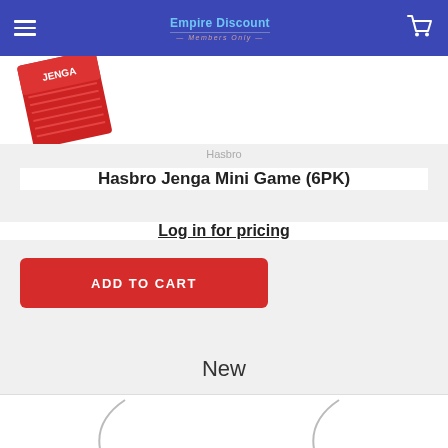Empire Discount
Hasbro
Hasbro Jenga Mini Game (6PK)
Log in for pricing
ADD TO CART
New